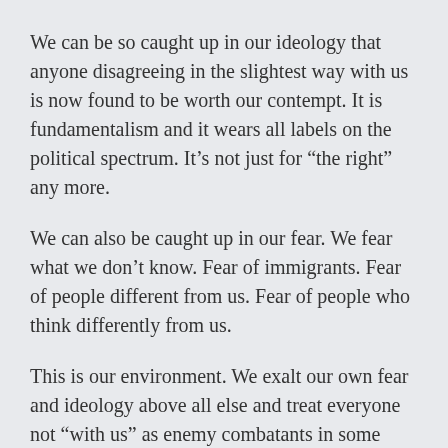We can be so caught up in our ideology that anyone disagreeing in the slightest way with us is now found to be worth our contempt. It is fundamentalism and it wears all labels on the political spectrum. It’s not just for “the right” any more.
We can also be caught up in our fear. We fear what we don’t know. Fear of immigrants. Fear of people different from us. Fear of people who think differently from us.
This is our environment. We exalt our own fear and ideology above all else and treat everyone not “with us” as enemy combatants in some way.
We need to recognize, as believers, that love takes first place. Not emotional love. Not love that is blind.
But love that tells us to care more than our...